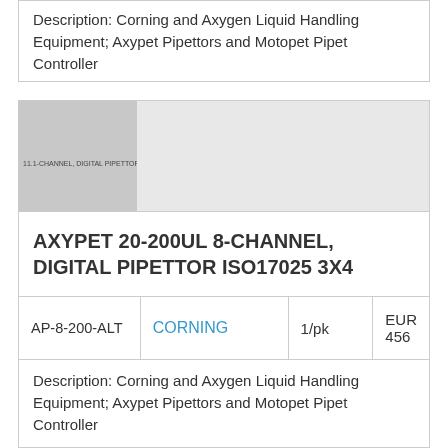Description: Corning and Axygen Liquid Handling Equipment; Axypet Pipettors and Motopet Pipet Controller
[Figure (photo): Placeholder image of a multi-channel digital pipettor, shown in gray with label text '11.1-CHANNEL, DIGITAL PIPETTORS...']
AXYPET 20-200UL 8-CHANNEL, DIGITAL PIPETTOR ISO17025 3X4
| SKU | Brand | Qty | Price |
| --- | --- | --- | --- |
| AP-8-200-ALT | CORNING | 1/pk | EUR 456 |
Description: Corning and Axygen Liquid Handling Equipment; Axypet Pipettors and Motopet Pipet Controller